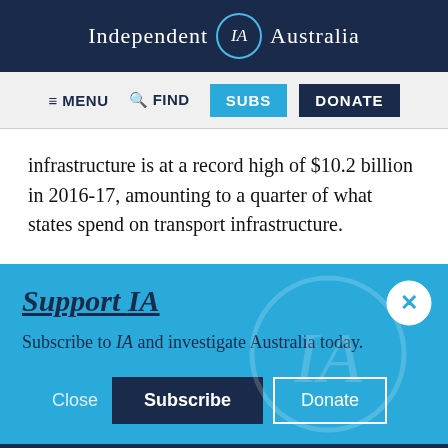Independent IA Australia
[Figure (screenshot): Navigation bar with menu, find, subs, and donate buttons]
infrastructure is at a record high of $10.2 billion in 2016-17, amounting to a quarter of what states spend on transport infrastructure.
Support IA
Subscribe to IA and investigate Australia today.
Social share icons: Twitter, Facebook, LinkedIn, Flipboard, link, plus